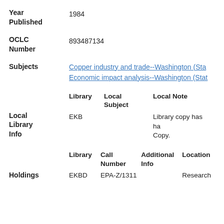Year Published: 1984
OCLC Number: 893487134
Subjects: Copper industry and trade--Washington (Sta…; Economic impact analysis--Washington (Stat…
| Local Library Info | Library | Local Subject | Local Note |
| --- | --- | --- | --- |
|  | EKB |  | Library copy has ha… Copy. |
| Holdings | Library | Call Number | Additional Info | Location |
| --- | --- | --- | --- | --- |
|  | EKBD | EPA-Z/1311 |  | Research |